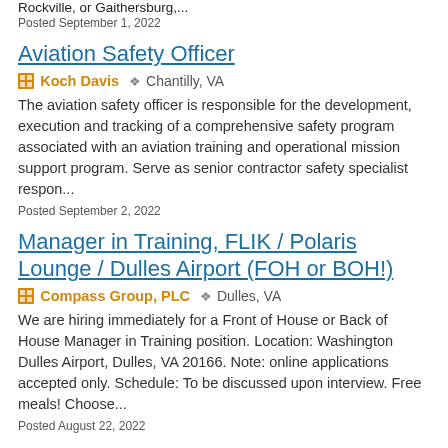Rockville, or Gaithersburg,...
Posted September 1, 2022
Aviation Safety Officer
Koch Davis  Chantilly, VA
The aviation safety officer is responsible for the development, execution and tracking of a comprehensive safety program associated with an aviation training and operational mission support program. Serve as senior contractor safety specialist respon...
Posted September 2, 2022
Manager in Training, FLIK / Polaris Lounge / Dulles Airport (FOH or BOH!)
Compass Group, PLC  Dulles, VA
We are hiring immediately for a Front of House or Back of House Manager in Training position. Location: Washington Dulles Airport, Dulles, VA 20166. Note: online applications accepted only. Schedule: To be discussed upon interview. Free meals! Choose...
Posted August 22, 2022